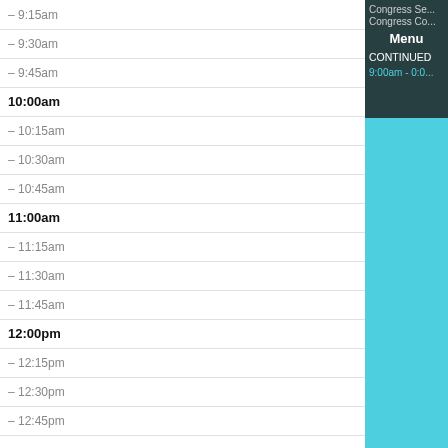| Time |
| --- |
| 9:15am |
| 9:30am |
| 9:45am |
| 10:00am |
| 10:15am |
| 10:30am |
| 10:45am |
| 11:00am |
| 11:15am |
| 11:30am |
| 11:45am |
| 12:00pm |
| 12:15pm |
| 12:30pm |
| 12:45pm |
Congress Se
Congress Co
Menu
CONTINUED
9:00am - 0:0...